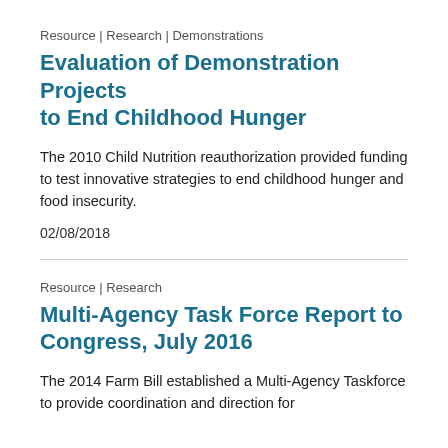Resource | Research | Demonstrations
Evaluation of Demonstration Projects to End Childhood Hunger
The 2010 Child Nutrition reauthorization provided funding to test innovative strategies to end childhood hunger and food insecurity.
02/08/2018
Resource | Research
Multi-Agency Task Force Report to Congress, July 2016
The 2014 Farm Bill established a Multi-Agency Taskforce to provide coordination and direction for